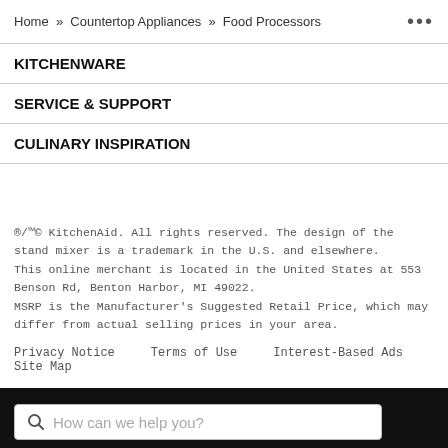Home » Countertop Appliances » Food Processors ...
KITCHENWARE
SERVICE & SUPPORT
CULINARY INSPIRATION
®/™© KitchenAid. All rights reserved. The design of the stand mixer is a trademark in the U.S. and elsewhere.
This online merchant is located in the United States at 553 Benson Rd, Benton Harbor, MI 49022.
MSRP is the Manufacturer's Suggested Retail Price, which may differ from actual selling prices in your area.
Privacy Notice   Terms of Use   Interest-Based Ads   Site Map
How can we help you?